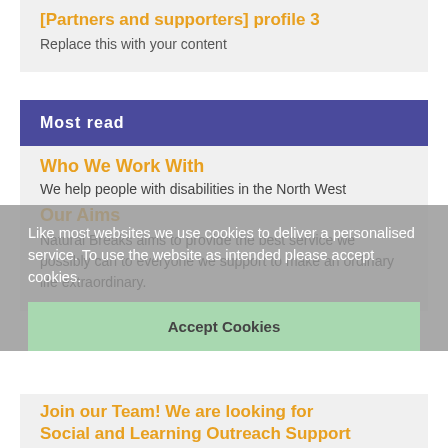[Partners and supporters] profile 3
Replace this with your content
Most read
Who We Work With
We help people with disabilities in the North West
Our Aims
Like most websites we use cookies to deliver a personalised service. To use the website as intended please accept cookies.
Natural Breaks aims to provide the best service we possibly can to everyone we support to make an ordinary life extraordinary.
Accept Cookies
Join our Team! We are looking for Social and Learning Outreach Support